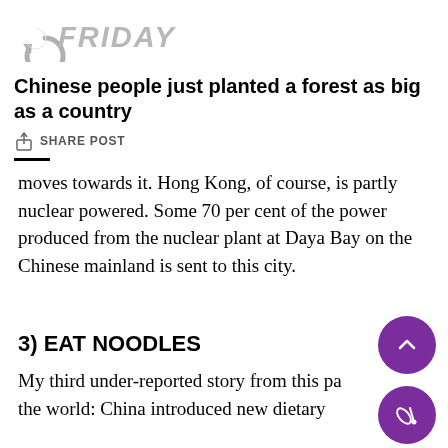FRIDAY
Chinese people just planted a forest as big as a country
SHARE POST
moves towards it. Hong Kong, of course, is partly nuclear powered. Some 70 per cent of the power produced from the nuclear plant at Daya Bay on the Chinese mainland is sent to this city.
3) EAT NOODLES
My third under-reported story from this part of the world: China introduced new dietary